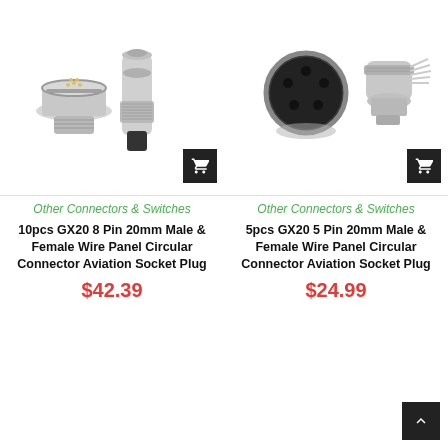[Figure (photo): Photo of 10pcs GX20 8 Pin 20mm Male and Female circular aviation connector plug — two silver metal connectors shown side by side]
Other Connectors & Switches
10pcs GX20 8 Pin 20mm Male & Female Wire Panel Circular Connector Aviation Socket Plug
$42.39
[Figure (photo): Photo of 5pcs GX20 5 Pin 20mm Male and Female circular aviation connector plug — two silver metal connectors shown at an angle]
Other Connectors & Switches
5pcs GX20 5 Pin 20mm Male & Female Wire Panel Circular Connector Aviation Socket Plug
$24.99